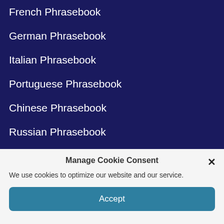French Phrasebook
German Phrasebook
Italian Phrasebook
Portuguese Phrasebook
Chinese Phrasebook
Russian Phrasebook
Guide to Finding Conversation Partners
Manage Cookie Consent
We use cookies to optimize our website and our service.
Accept